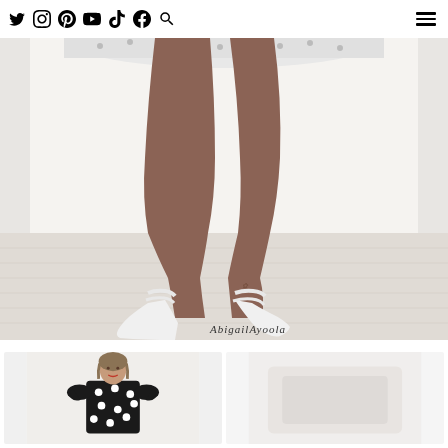Abigail Ayoola fashion blog navigation bar with social media icons: Twitter, Instagram, Pinterest, YouTube, TikTok, Facebook, Search, and hamburger menu
[Figure (photo): Close-up photo of a woman's legs wearing a white polka dot skirt and white ankle-strap pointed-toe heels, standing on a light wood floor against a white wall. Watermark reads 'Abigail Ayoola' in script.]
[Figure (photo): Thumbnail product photo of a woman wearing a black dress with white polka dots and ruffled sleeves, shown from mid-torso up.]
[Figure (photo): Thumbnail product photo, partially visible, light background.]